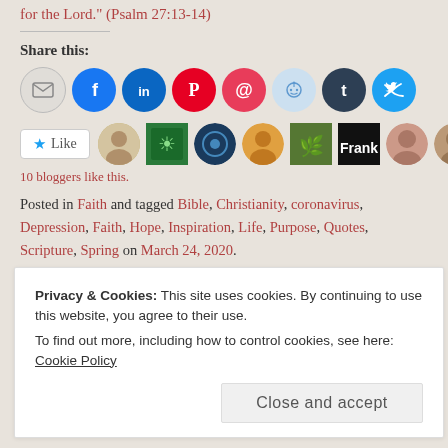for the Lord." (Psalm 27:13-14)
Share this:
[Figure (infographic): Row of social sharing icon buttons: email, Facebook, LinkedIn, Pinterest, Pocket, Reddit, Tumblr, Twitter]
[Figure (infographic): Like button with star icon and blogger avatars row]
10 bloggers like this.
Posted in Faith and tagged Bible, Christianity, coronavirus, Depression, Faith, Hope, Inspiration, Life, Purpose, Quotes, Scripture, Spring on March 24, 2020.
Privacy & Cookies: This site uses cookies. By continuing to use this website, you agree to their use.
To find out more, including how to control cookies, see here: Cookie Policy
Close and accept